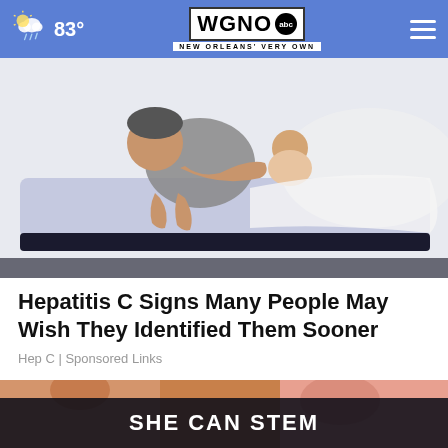83° WGNO abc NEW ORLEANS' VERY OWN
[Figure (illustration): Illustration of a person lying on a bed or mattress, depicted in a cartoon style with muted blues and grays.]
Hepatitis C Signs Many People May Wish They Identified Them Sooner
Hep C | Sponsored Links
[Figure (photo): Close-up photo of hands, possibly showing skin condition, with yellow and pink tones. An overlay banner reads 'SHE CAN STEM' in bold white text on a dark background. A circular close button with an X is visible.]